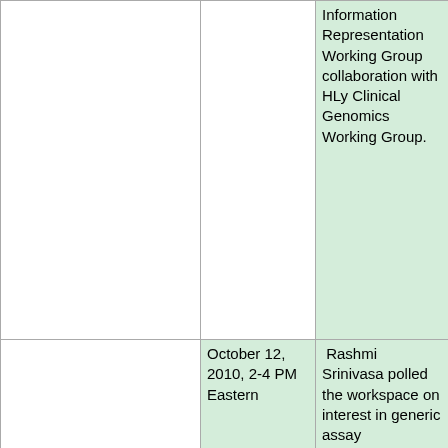|  |  | Information Representation Working Group collaboration with HLy Clinical Genomics Working Group. |
|  | October 12, 2010, 2-4 PM Eastern | Rashmi Srinivasa polled the workspace on interest in generic assay management. She provided an update on caArray which included features anticipating handling next generation sequencing data such as: the ability to handle fastq and BAM/SAM |